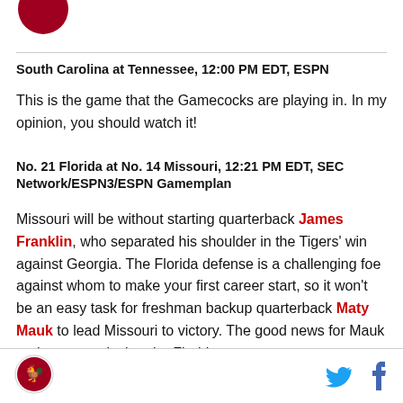[Figure (logo): Partial red circular logo at top left]
South Carolina at Tennessee, 12:00 PM EDT, ESPN
This is the game that the Gamecocks are playing in. In my opinion, you should watch it!
No. 21 Florida at No. 14 Missouri, 12:21 PM EDT, SEC Network/ESPN3/ESPN Gamemplan
Missouri will be without starting quarterback James Franklin, who separated his shoulder in the Tigers' win against Georgia. The Florida defense is a challenging foe against whom to make your first career start, so it won't be an easy task for freshman backup quarterback Maty Mauk to lead Missouri to victory. The good news for Mauk and company is that the Florida
footer with logo and social icons